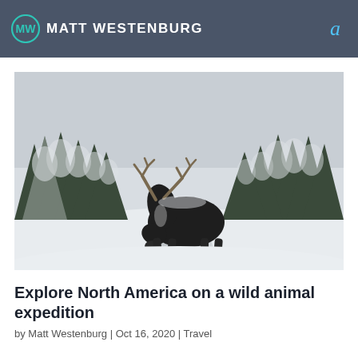MATT WESTENBURG
[Figure (photo): A caribou/reindeer with large antlers grazing on a snow-covered road surrounded by snow-laden pine trees in winter]
Explore North America on a wild animal expedition
by Matt Westenburg | Oct 16, 2020 | Travel